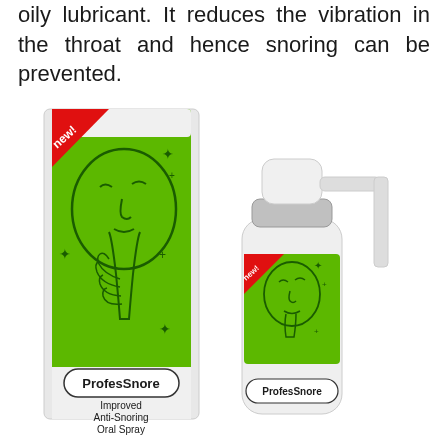oily lubricant. It reduces the vibration in the throat and hence snoring can be prevented.
[Figure (photo): ProfesSnore Improved Anti-Snoring Oral Spray product photo showing a green and white box and a white spray bottle, both featuring the ProfesSnore brand name and a logo of a person with finger to lips (shushing gesture). A red 'new!' badge is visible on both. The box text reads 'Improved Anti-Snoring Oral Spray'.]